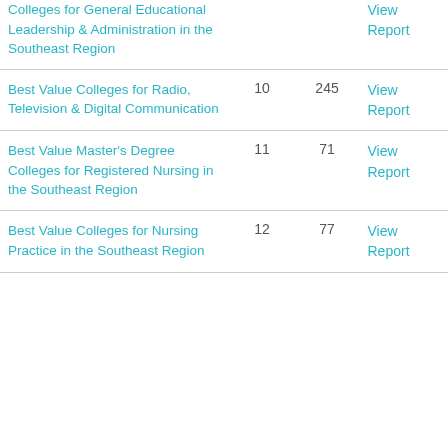| Name | Rank | Count | Link |
| --- | --- | --- | --- |
| Colleges for General Educational Leadership & Administration in the Southeast Region |  |  | View Report |
| Best Value Colleges for Radio, Television & Digital Communication | 10 | 245 | View Report |
| Best Value Master's Degree Colleges for Registered Nursing in the Southeast Region | 11 | 71 | View Report |
| Best Value Colleges for Nursing Practice in the Southeast Region | 12 | 77 | View Report |